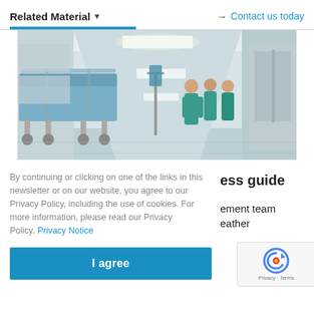Related Material ▼    → Contact us today
[Figure (photo): Hospital corridor with medical staff in scrubs and a medical gurney/bed in the foreground. Bright fluorescent lighting, white walls, blurred healthcare workers in background.]
By continuing or clicking on one of the links in this newsletter or on our website, you agree to our Privacy Policy, including the use of cookies. For more information, please read our Privacy Policy. Privacy Notice
ess guide
ement team
eather
I agree